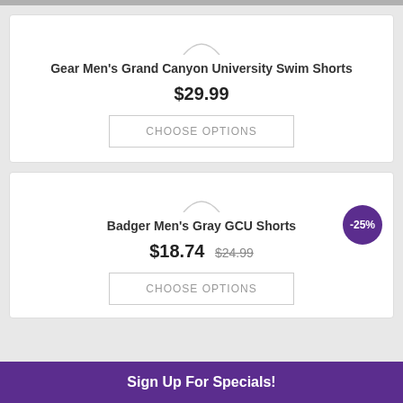[Figure (other): Product image placeholder arc for Gear Men's Grand Canyon University Swim Shorts]
Gear Men's Grand Canyon University Swim Shorts
$29.99
CHOOSE OPTIONS
[Figure (other): Product image placeholder arc for Badger Men's Gray GCU Shorts]
Badger Men's Gray GCU Shorts
$18.74  $24.99 (strikethrough), -25% badge
CHOOSE OPTIONS
Sign Up For Specials!